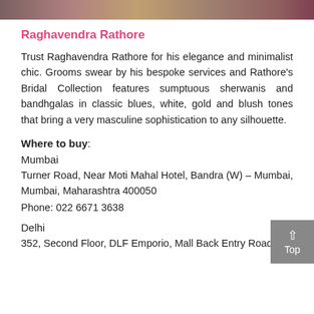[Figure (photo): Partial view of a photo strip showing fashion/clothing images at top of page]
Raghavendra Rathore
Trust Raghavendra Rathore for his elegance and minimalist chic. Grooms swear by his bespoke services and Rathore's Bridal Collection features sumptuous sherwanis and bandhgalas in classic blues, white, gold and blush tones that bring a very masculine sophistication to any silhouette.
Where to buy:
Mumbai
Turner Road, Near Moti Mahal Hotel, Bandra (W) – Mumbai, Mumbai, Maharashtra 400050
Phone: 022 6671 3638
Delhi
352, Second Floor, DLF Emporio, Mall Back Entry Road,